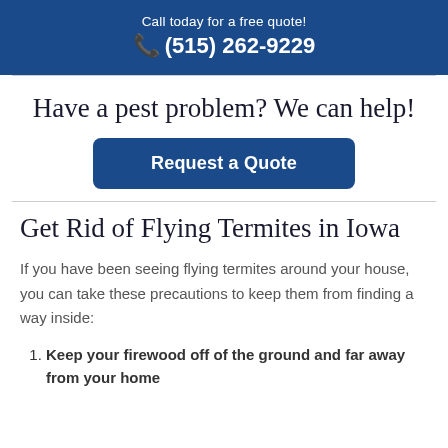Call today for a free quote!
☎ (515) 262-9229
Have a pest problem? We can help!
Request a Quote
Get Rid of Flying Termites in Iowa
If you have been seeing flying termites around your house, you can take these precautions to keep them from finding a way inside:
Keep your firewood off of the ground and far away from your home